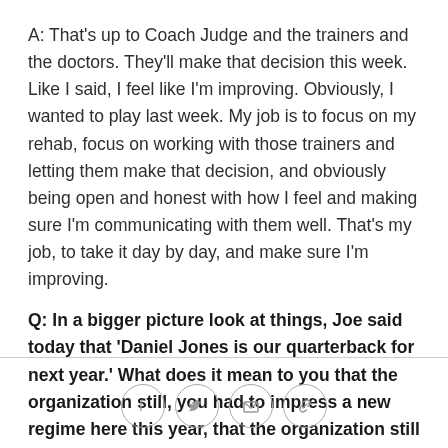A: That's up to Coach Judge and the trainers and the doctors. They'll make that decision this week. Like I said, I feel like I'm improving. Obviously, I wanted to play last week. My job is to focus on my rehab, focus on working with those trainers and letting them make that decision, and obviously being open and honest with how I feel and making sure I'm communicating with them well. That's my job, to take it day by day, and make sure I'm improving.
Q: In a bigger picture look at things, Joe said today that 'Daniel Jones is our quarterback for next year.' What does it mean to you that the organization still, you had to impress a new regime here this year, that the organization still has that trust in you?